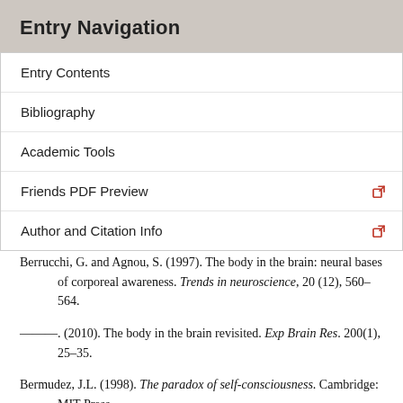Entry Navigation
Entry Contents
Bibliography
Academic Tools
Friends PDF Preview
Author and Citation Info
Berrucchi, G. and Agnou, S. (1997). The body in the brain: neural bases of corporeal awareness. Trends in neuroscience, 20 (12), 560–564.
–––. (2010). The body in the brain revisited. Exp Brain Res. 200(1), 25–35.
Bermudez, J.L. (1998). The paradox of self-consciousness. Cambridge: MIT Press.
–––. (2005). The phenomenology of bodily awareness. In D. Woodruff Smith and A. Thomasson (eds.), Phenomenology and philosophy of mind. Oxford: Clarendon Press, 295–316.